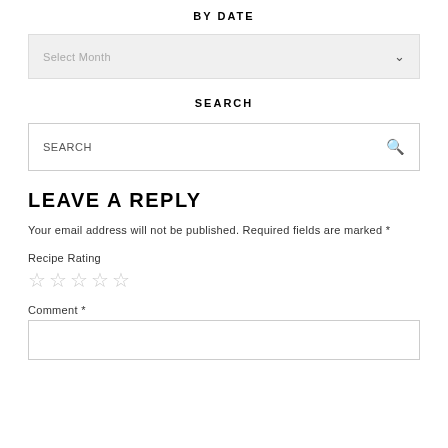BY DATE
Select Month
SEARCH
SEARCH
LEAVE A REPLY
Your email address will not be published. Required fields are marked *
Recipe Rating
☆☆☆☆☆
Comment *